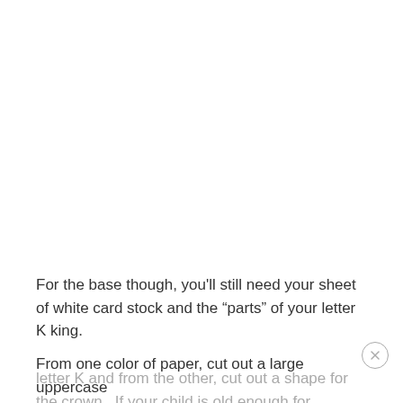For the base though, you'll still need your sheet of white card stock and the “parts” of your letter K king.
From one color of paper, cut out a large uppercase letter K and from the other, cut out a shape for the crown.  If your child is old enough for scissors, this is